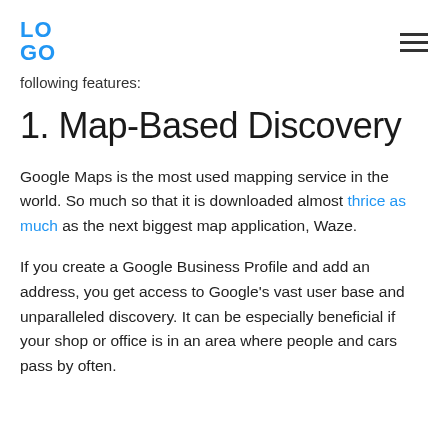LO GO
following features:
1. Map-Based Discovery
Google Maps is the most used mapping service in the world. So much so that it is downloaded almost thrice as much as the next biggest map application, Waze.
If you create a Google Business Profile and add an address, you get access to Google's vast user base and unparalleled discovery. It can be especially beneficial if your shop or office is in an area where people and cars pass by often.